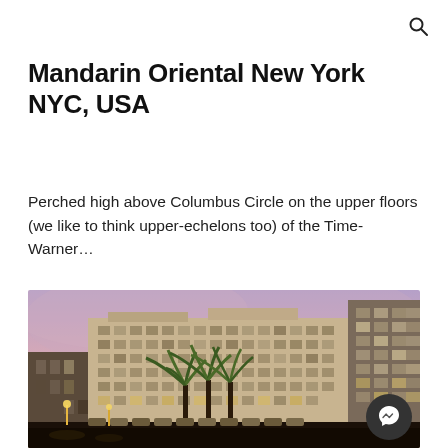search icon
Mandarin Oriental New York NYC, USA
Perched high above Columbus Circle on the upper floors (we like to think upper-echelons too) of the Time-Warner...
[Figure (photo): Exterior photograph of a large multi-story hotel/building at dusk with a pink-purple sky, palm trees in front, and illuminated storefronts at street level.]